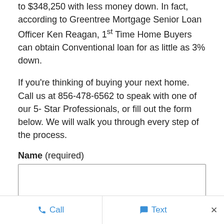to $348,250 with less money down. In fact, according to Greentree Mortgage Senior Loan Officer Ken Reagan, 1st Time Home Buyers can obtain Conventional loan for as little as 3% down.
If you're thinking of buying your next home. Call us at 856-478-6562 to speak with one of our 5- Star Professionals, or fill out the form below. We will walk you through every step of the process.
Name (required)
Email (required)
Call   Text   ×